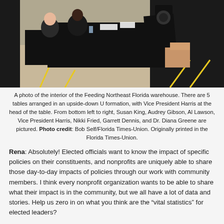[Figure (photo): A photo of the interior of the Feeding Northeast Florida warehouse showing people seated at tables arranged in an upside-down U formation. Vice President Harris is at the head of the table. People pictured from bottom left to right: Susan King, Audrey Gibson, Al Lawson, Vice President Harris, Nikki Fried, Garrett Dennis, and Dr. Diana Greene.]
A photo of the interior of the Feeding Northeast Florida warehouse. There are 5 tables arranged in an upside-down U formation, with Vice President Harris at the head of the table. From bottom left to right, Susan King, Audrey Gibson, Al Lawson, Vice President Harris, Nikki Fried, Garrett Dennis, and Dr. Diana Greene are pictured. Photo credit: Bob Self/Florida Times-Union. Originally printed in the Florida Times-Union.
Rena: Absolutely! Elected officials want to know the impact of specific policies on their constituents, and nonprofits are uniquely able to share those day-to-day impacts of policies through our work with community members. I think every nonprofit organization wants to be able to share what their impact is in the community, but we all have a lot of data and stories. Help us zero in on what you think are the “vital statistics” for elected leaders?